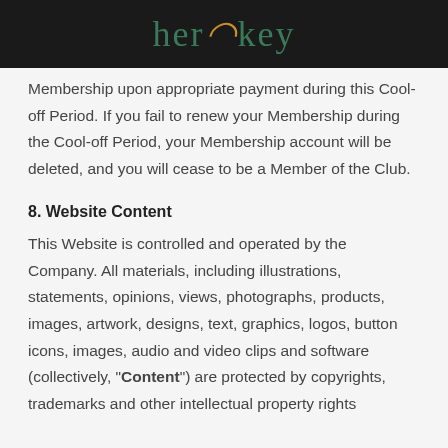[Figure (logo): HerKey logo in teal/dark green with a golden spiral replacing the 'c', on a dark/black background header bar]
Membership upon appropriate payment during this Cool-off Period. If you fail to renew your Membership during the Cool-off Period, your Membership account will be deleted, and you will cease to be a Member of the Club.
8. Website Content
This Website is controlled and operated by the Company. All materials, including illustrations, statements, opinions, views, photographs, products, images, artwork, designs, text, graphics, logos, button icons, images, audio and video clips and software (collectively, "Content") are protected by copyrights, trademarks and other intellectual property rights